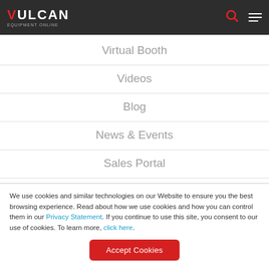VULCAN
Virtual Booth
Videos
Blog
News & Events
Sales Portal
We use cookies and similar technologies on our Website to ensure you the best browsing experience. Read about how we use cookies and how you can control them in our Privacy Statement. If you continue to use this site, you consent to our use of cookies. To learn more, click here.
Accept Cookies